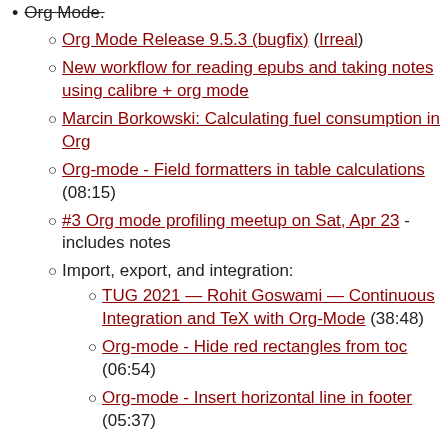Org Mode Release 9.5.3 (bugfix) (Irreal)
New workflow for reading epubs and taking notes using calibre + org mode
Marcin Borkowski: Calculating fuel consumption in Org
Org-mode - Field formatters in table calculations (08:15)
#3 Org mode profiling meetup on Sat, Apr 23 - includes notes
Import, export, and integration:
TUG 2021 — Rohit Goswami — Continuous Integration and TeX with Org-Mode (38:48)
Org-mode - Hide red rectangles from toc (06:54)
Org-mode - Insert horizontal line in footer (05:37)